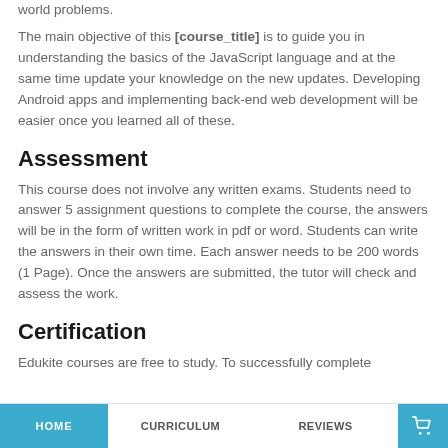world problems.
The main objective of this [course_title] is to guide you in understanding the basics of the JavaScript language and at the same time update your knowledge on the new updates. Developing Android apps and implementing back-end web development will be easier once you learned all of these.
Assessment
This course does not involve any written exams. Students need to answer 5 assignment questions to complete the course, the answers will be in the form of written work in pdf or word. Students can write the answers in their own time. Each answer needs to be 200 words (1 Page). Once the answers are submitted, the tutor will check and assess the work.
Certification
Edukite courses are free to study. To successfully complete
HOME   CURRICULUM   REVIEWS